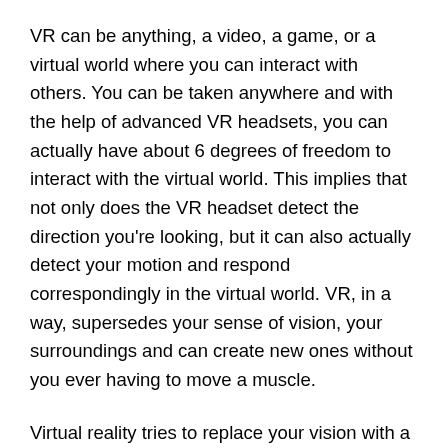VR can be anything, a video, a game, or a virtual world where you can interact with others. You can be taken anywhere and with the help of advanced VR headsets, you can actually have about 6 degrees of freedom to interact with the virtual world. This implies that not only does the VR headset detect the direction you're looking, but it can also actually detect your motion and respond correspondingly in the virtual world. VR, in a way, supersedes your sense of vision, your surroundings and can create new ones without you ever having to move a muscle.
Virtual reality tries to replace your vision with a programmed one, whereas augmented reality adds it to your existing vision. AR devices or headsets, such as Microsoft HoloLens. The AR headsets are transparent and let you have free movement in the physical world. Augmented reality is designed for free movement by the